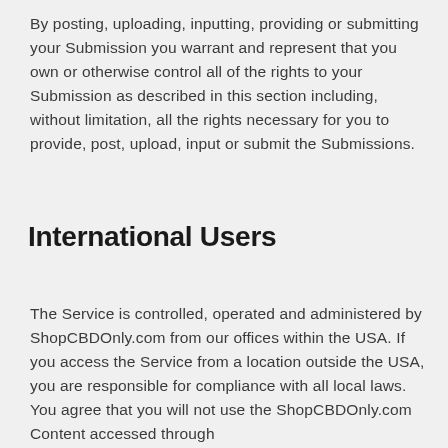By posting, uploading, inputting, providing or submitting your Submission you warrant and represent that you own or otherwise control all of the rights to your Submission as described in this section including, without limitation, all the rights necessary for you to provide, post, upload, input or submit the Submissions.
International Users
The Service is controlled, operated and administered by ShopCBDOnly.com from our offices within the USA. If you access the Service from a location outside the USA, you are responsible for compliance with all local laws. You agree that you will not use the ShopCBDOnly.com Content accessed through https://www.shopcbdonly.com in